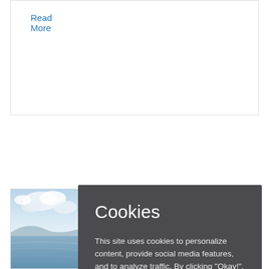Read More
[Figure (photo): Outdoor scene with sky, clouds, water and hills visible in partial thumbnail on the left side of bottom card]
Airg... Cay...
Jan 20, 2020
Cookies
This site uses cookies to personalize content, provide social media features, and to analyze traffic. By clicking "Okay!", the X, or by using the site, consent to cookies will be given. Find out more.
Okay!